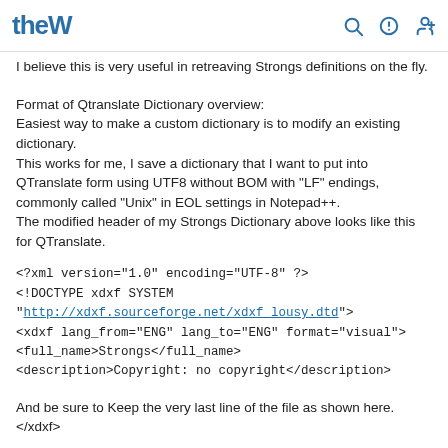theW
I believe this is very useful in retreaving Strongs definitions on the fly.
Format of Qtranslate Dictionary overview:
Easiest way to make a custom dictionary is to modify an existing dictionary.
This works for me, I save a dictionary that I want to put into QTranslate form using UTF8 without BOM with "LF" endings, commonly called "Unix" in EOL settings in Notepad++.
The modified header of my Strongs Dictionary above looks like this for QTranslate.
<?xml version="1.0" encoding="UTF-8" ?>
<!DOCTYPE xdxf SYSTEM "http://xdxf.sourceforge.net/xdxf_lousy.dtd">
<xdxf lang_from="ENG" lang_to="ENG" format="visual">
<full_name>Strongs</full_name>
<description>Copyright: no copyright</description>
And be sure to Keep the very last line of the file as shown here.
</xdxf>
So you can delete out all the other contents of downloaded dictionary.
After you have prepared your own dictionary material–